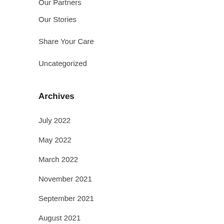Our Partners
Our Stories
Share Your Care
Uncategorized
Archives
July 2022
May 2022
March 2022
November 2021
September 2021
August 2021